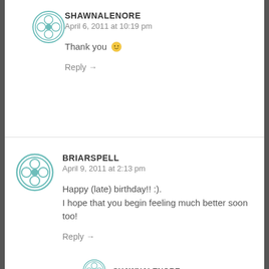SHAWNALENORE
April 6, 2011 at 10:19 pm
Thank you 🙂
Reply →
BRIARSPELL
April 9, 2011 at 2:13 pm
Happy (late) birthday!! :).
I hope that you begin feeling much better soon too!
Reply →
SHAWNALENORE